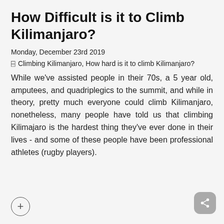How Difficult is it to Climb Kilimanjaro?
Monday, December 23rd 2019
🏷 Climbing Kilimanjaro, How hard is it to climb Kilimanjaro?
While we've assisted people in their 70s, a 5 year old, amputees, and quadriplegics to the summit, and while in theory, pretty much everyone could climb Kilimanjaro, nonetheless, many people have told us that climbing Kilimajaro is the hardest thing they've ever done in their lives - and some of these people have been professional athletes (rugby players).